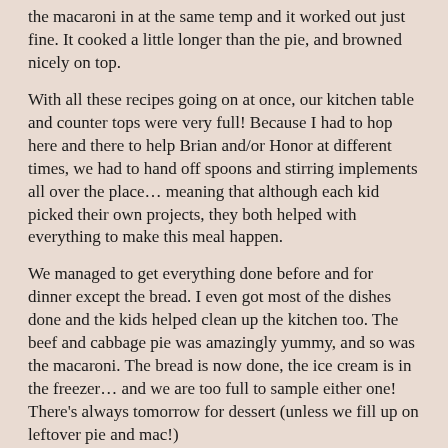the macaroni in at the same temp and it worked out just fine. It cooked a little longer than the pie, and browned nicely on top.
With all these recipes going on at once, our kitchen table and counter tops were very full! Because I had to hop here and there to help Brian and/or Honor at different times, we had to hand off spoons and stirring implements all over the place… meaning that although each kid picked their own projects, they both helped with everything to make this meal happen.
We managed to get everything done before and for dinner except the bread. I even got most of the dishes done and the kids helped clean up the kitchen too. The beef and cabbage pie was amazingly yummy, and so was the macaroni. The bread is now done, the ice cream is in the freezer… and we are too full to sample either one! There's always tomorrow for dessert (unless we fill up on leftover pie and mac!)
Connie at 8:47 PM    No comments: